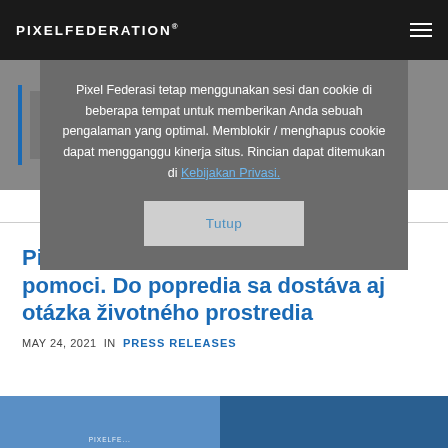PIXELFEDERATION®
Pixel Federasi tetap menggunakan sesi dan cookie di beberapa tempat untuk memberikan Anda sebuah pengalaman yang optimal. Memblokir / menghapus cookie dapat mengganggu kinerja situs. Rincian dapat ditemukan di Kebijakan Privasi.
Tutup
Pixel Federation mení stratégiu pomoci. Do popredia sa dostáva aj otázka životného prostredia
MAY 24, 2021 IN PRESS RELEASES
[Figure (photo): Bottom portion showing building exterior photos with Pixelfederation branding]